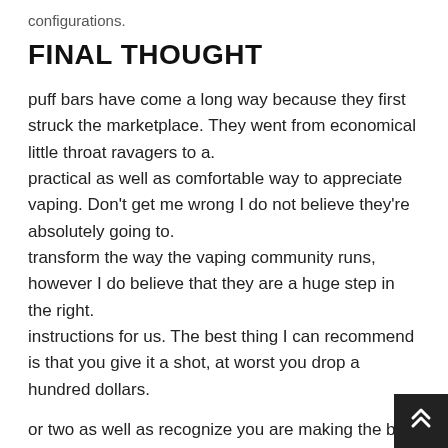configurations.
FINAL THOUGHT
puff bars have come a long way because they first struck the marketplace. They went from economical little throat ravagers to a.
practical as well as comfortable way to appreciate vaping. Don't get me wrong I do not believe they're absolutely going to.
transform the way the vaping community runs, however I do believe that they are a huge step in the right.
instructions for us. The best thing I can recommend is that you give it a shot, at worst you drop a hundred dollars.
or two as well as recognize you are making the best decision with your present arrangement. However you could end up saving a great deal.